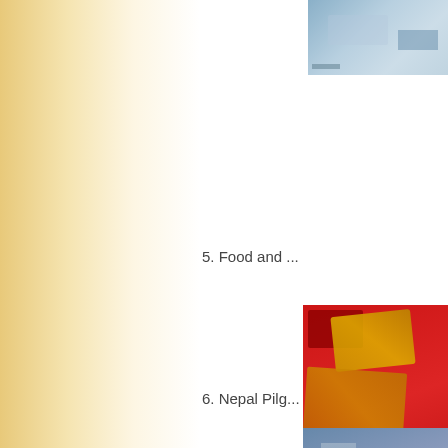[Figure (photo): Partial photo visible at top right corner, appears to show water or landscape scene]
5. Food and ...
[Figure (photo): Photo of colorful items, appears to show red fabric and decorated objects or food items at a market stall]
6. Nepal Pilg...
[Figure (photo): Partial photo visible at bottom right, appears to show buildings or urban scene]